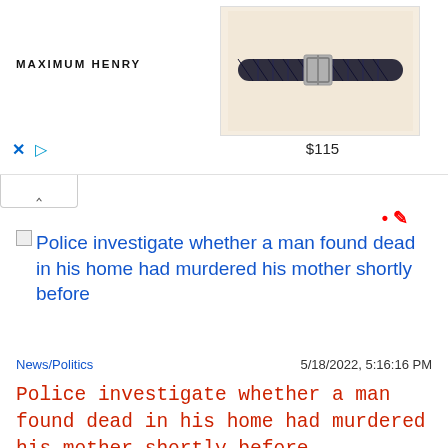[Figure (screenshot): Advertisement banner showing a braided leather belt from Maximum Henry brand, priced at $115, with close (X) and play button controls, and a collapse (^) tab below]
[Figure (screenshot): News article thumbnail link with broken image icon: Police investigate whether a man found dead in his home had murdered his mother shortly before]
News/Politics   5/18/2022, 5:16:16 PM
Police investigate whether a man found dead in his home had murdered his mother shortly before